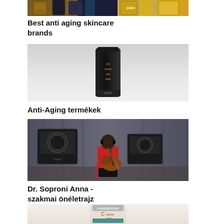[Figure (photo): Top portion of anti aging skincare product bottles/containers partially visible at top of page]
Best anti aging skincare brands
[Figure (photo): Black tube of anti-aging product with gold text 'It's never too late!' on gray gradient background]
Anti-Aging termékek
[Figure (photo): Person playing electric guitar seated in front of amplifiers with curtain in background]
Dr. Soproni Anna - szakmai önéletrajz
[Figure (photo): White skincare tube product partially visible at bottom of page]